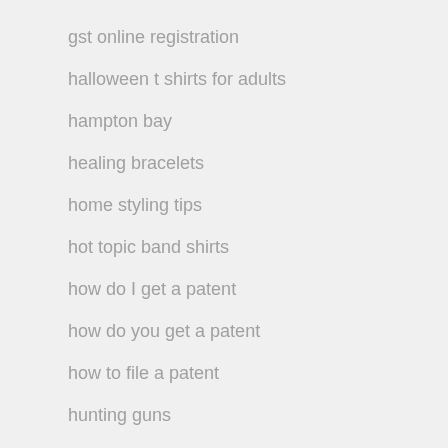gst online registration
halloween t shirts for adults
hampton bay
healing bracelets
home styling tips
hot topic band shirts
how do I get a patent
how do you get a patent
how to file a patent
hunting guns
innovation
instagram